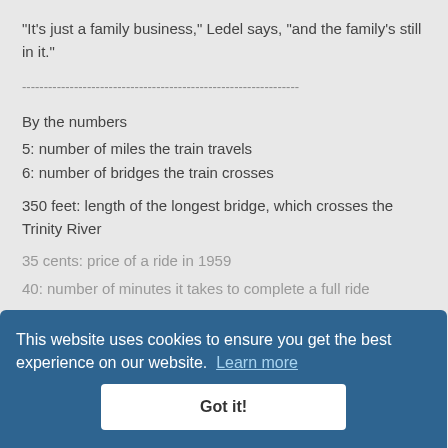"It's just a family business," Ledel says, "and the family's still in it."
----------------------------------------------------------------
By the numbers
5: number of miles the train travels
6: number of bridges the train crosses
350 feet: length of the longest bridge, which crosses the Trinity River
35 cents: price of a ride in 1959
40: number of minutes it takes to complete a full ride
$1: price of popcorn and soft drinks at the depot
$40,000: cost of the first four trains in 1959
This website uses cookies to ensure you get the best experience on our website. Learn more
Got it!